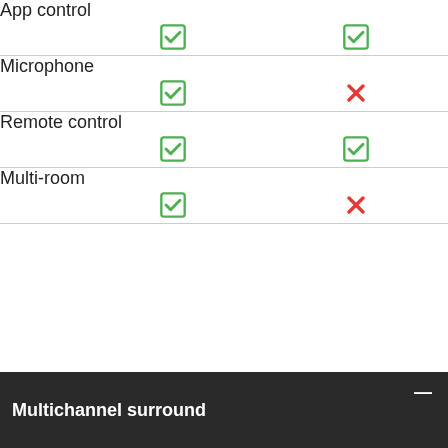| Feature | Product A | Product B |
| --- | --- | --- |
| App control | ✓ | ✓ |
| Microphone | ✓ | ✗ |
| Remote control | ✓ | ✓ |
| Multi-room | ✓ | ✗ |
Multichannel surround